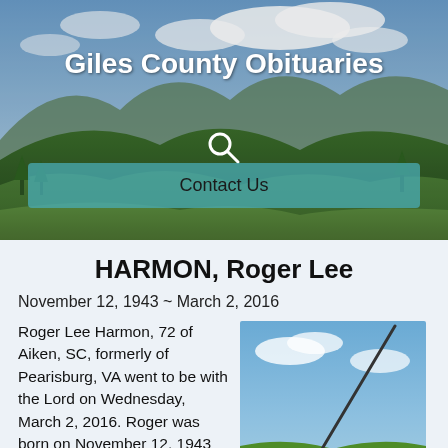[Figure (photo): Scenic mountain landscape with green hills, forest, valleys and cloudy sky — hero banner background for Giles County Obituaries website]
Giles County Obituaries
Contact Us
HARMON, Roger Lee
November 12, 1943 ~ March 2, 2016
Roger Lee Harmon, 72 of Aiken, SC, formerly of Pearisburg, VA went to be with the Lord on Wednesday, March 2, 2016. Roger was born on November 12, 1943 and was a son of the
[Figure (photo): Close-up photo of a golf driver club head and golf ball on grass against a blue sky background]